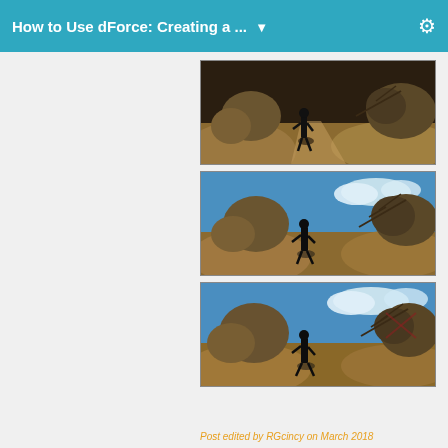How to Use dForce: Creating a ...
[Figure (screenshot): 3D render of a desert scene with a dark silhouette figure standing on sandy terrain with large rocks, rendered without sky (dark/night tone)]
[Figure (screenshot): 3D render of a desert scene with a dark silhouette figure standing on sandy terrain with large rocks and blue sky with clouds]
[Figure (screenshot): 3D render of a desert scene with a dark silhouette figure standing on sandy terrain with large rocks and blue sky with clouds, similar to second image]
Post edited by RGcincy on March 2018